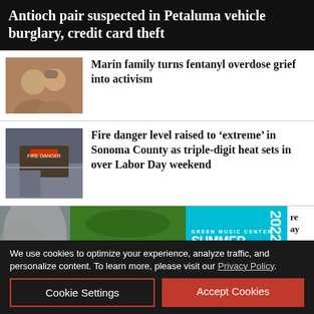Antioch pair suspected in Petaluma vehicle burglary, credit card theft
[Figure (photo): Two people smiling, selfie-style photo]
Marin family turns fentanyl overdose grief into activism
[Figure (photo): Fire danger sign at a venue or park]
Fire danger level raised to ‘extreme’ in Sonoma County as triple-digit heat sets in over Labor Day weekend
[Figure (photo): Smoke cloud on left, aerial view of Green Music Center venue on right with BUY TICKETS button, and Green Music Center Summer at the Green 2022 advertisement]
We use cookies to optimize your experience, analyze traffic, and personalize content. To learn more, please visit our Privacy Policy.
Cookie Settings
Accept Cookies